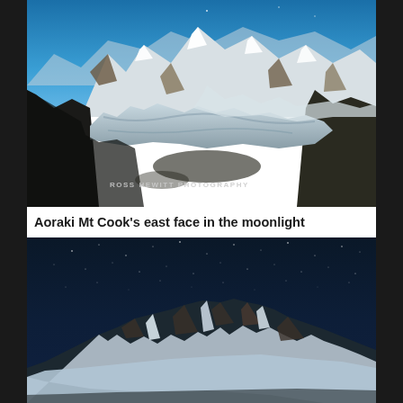[Figure (photo): Aerial daytime photograph of Aoraki Mt Cook mountain range with snow-covered peaks, a glacier valley below, and blue sky above. A watermark reads 'ROSS HEWITT PHOTOGRAPHY' in the lower left.]
Aoraki Mt Cook's east face in the moonlight
[Figure (photo): Night-time photograph of Aoraki Mt Cook's east face illuminated by moonlight, with a dark navy star-filled sky in the background and snow-covered rocky mountain face prominently visible.]